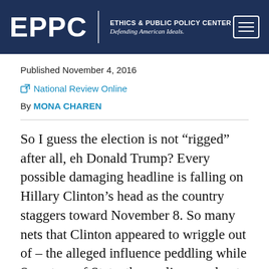EPPC | ETHICS & PUBLIC POLICY CENTER Defending American Ideals.
Published November 4, 2016
National Review Online
By MONA CHAREN
So I guess the election is not “rigged” after all, eh Donald Trump? Every possible damaging headline is falling on Hillary Clinton’s head as the country staggers toward November 8. So many nets that Clinton appeared to wriggle out of – the alleged influence peddling while Secretary of State, the negligence about classified e-mails, the dishonesty (including possibly under oath), the kid glove treatment by